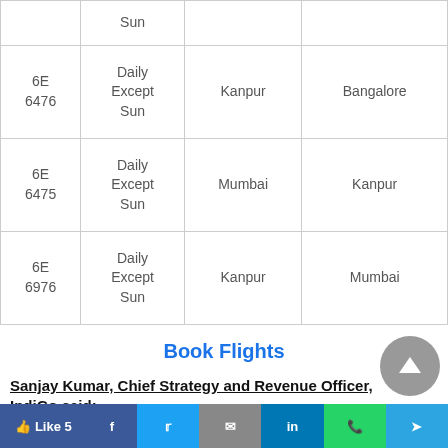| Flight | Schedule | From | To |
| --- | --- | --- | --- |
|  | Sun |  |  |
| 6E 6476 | Daily Except Sun | Kanpur | Bangalore |
| 6E 6475 | Daily Except Sun | Mumbai | Kanpur |
| 6E 6976 | Daily Except Sun | Kanpur | Mumbai |
Book Flights
Sanjay Kumar, Chief Strategy and Revenue Officer, IndiGo said: